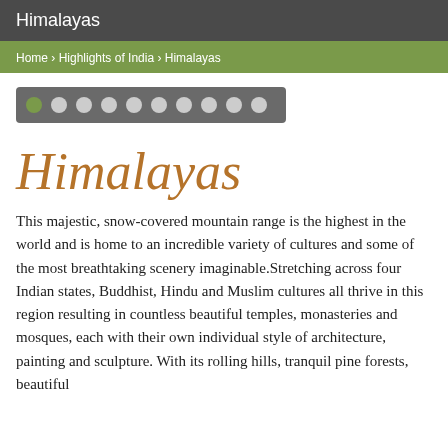Himalayas
Home › Highlights of India › Himalayas
[Figure (other): Slideshow navigation dots — one green active dot followed by eleven white dots on a dark grey rounded rectangle background]
Himalayas
This majestic, snow-covered mountain range is the highest in the world and is home to an incredible variety of cultures and some of the most breathtaking scenery imaginable.Stretching across four Indian states, Buddhist, Hindu and Muslim cultures all thrive in this region resulting in countless beautiful temples, monasteries and mosques, each with their own individual style of architecture, painting and sculpture. With its rolling hills, tranquil pine forests, beautiful